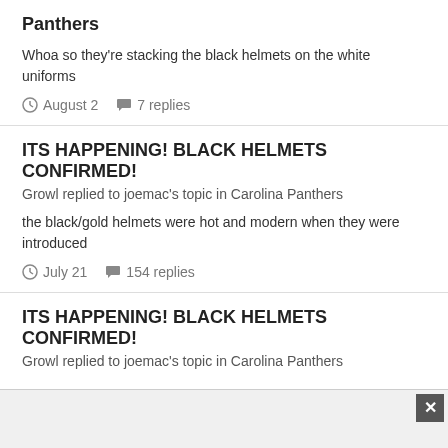Panthers
Whoa so they're stacking the black helmets on the white uniforms
August 2   7 replies
ITS HAPPENING! BLACK HELMETS CONFIRMED!
Growl replied to joemac's topic in Carolina Panthers
the black/gold helmets were hot and modern when they were introduced
July 21   154 replies
ITS HAPPENING! BLACK HELMETS CONFIRMED!
Growl replied to joemac's topic in Carolina Panthers
[Figure (other): Ad bar with close button]